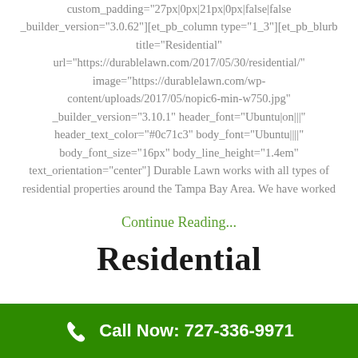custom_padding="27px|0px|21px|0px|false|false _builder_version="3.0.62"][et_pb_column type="1_3"][et_pb_blurb title="Residential" url="https://durablelawn.com/2017/05/30/residential/" image="https://durablelawn.com/wp-content/uploads/2017/05/nopic6-min-w750.jpg" _builder_version="3.10.1" header_font="Ubuntu|on|||" header_text_color="#0c71c3" body_font="Ubuntu||||" body_font_size="16px" body_line_height="1.4em" text_orientation="center"] Durable Lawn works with all types of residential properties around the Tampa Bay Area. We have worked
Continue Reading...
Residential
Call Now: 727-336-9971